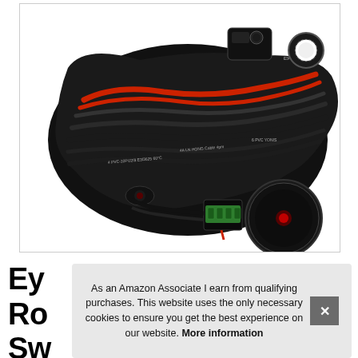[Figure (photo): Product photo of a wiring harness kit for LED lights, showing black wires coiled together with red wire, relay, connectors, a small inline switch, a black round rocker switch with red LED indicator, and a green circuit connector block, all on white background.]
Ey
Ro
Sw
As an Amazon Associate I earn from qualifying purchases. This website uses the only necessary cookies to ensure you get the best experience on our website. More information